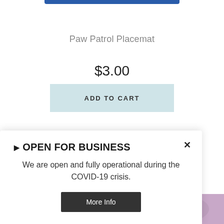Paw Patrol Placemat
$3.00
ADD TO CART
[Figure (photo): Teal/turquoise ball partially visible]
[Figure (photo): Bottom right partial colorful image]
▶ OPEN FOR BUSINESS
We are open and fully operational during the COVID-19 crisis.
More Info